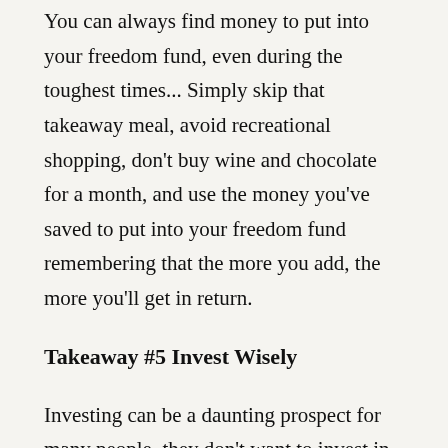You can always find money to put into your freedom fund, even during the toughest times... Simply skip that takeaway meal, avoid recreational shopping, don't buy wine and chocolate for a month, and use the money you've saved to put into your freedom fund remembering that the more you add, the more you'll get in return.
Takeaway #5 Invest Wisely
Investing can be a daunting prospect for many people, they don't want to invest in